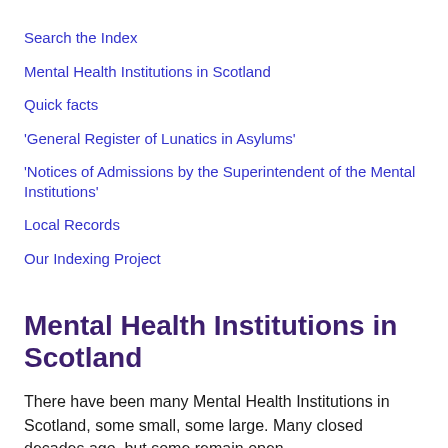Search the Index
Mental Health Institutions in Scotland
Quick facts
'General Register of Lunatics in Asylums'
'Notices of Admissions by the Superintendent of the Mental Institutions'
Local Records
Our Indexing Project
Mental Health Institutions in Scotland
There have been many Mental Health Institutions in Scotland, some small, some large. Many closed decades ago, but some remain open.